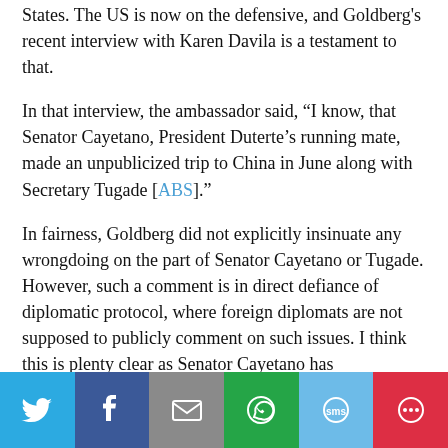States. The US is now on the defensive, and Goldberg's recent interview with Karen Davila is a testament to that.
In that interview, the ambassador said, “I know, that Senator Cayetano, President Duterte’s running mate, made an unpublicized trip to China in June along with Secretary Tugade [ABS].”
In fairness, Goldberg did not explicitly insinuate any wrongdoing on the part of Senator Cayetano or Tugade. However, such a comment is in direct defiance of diplomatic protocol, where foreign diplomats are not supposed to publicly comment on such issues. I think this is plenty clear as Senator Cayetano has consequently requested the DFA to protest Goldberg’s actions [Star].
The conformity of Goldberg’s actions to established diplomatic protocol is not my concern. Instead, it is the underlying reasoning behind his words.
[Figure (infographic): Social media share bar with Twitter, Facebook, Email, WhatsApp, SMS, and More buttons]